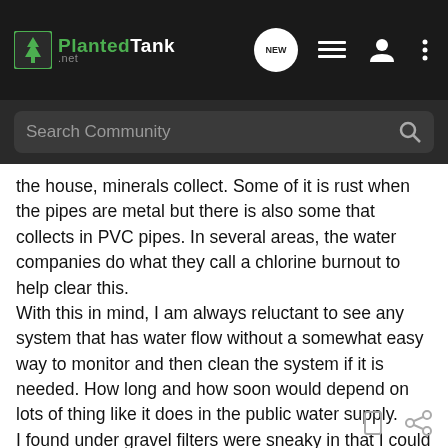PlantedTank — Navigation bar with logo, NEW chat bubble, list icon, user icon, more icon
Search Community
the house, minerals collect. Some of it is rust when the pipes are metal but there is also some that collects in PVC pipes. In several areas, the water companies do what they call a chlorine burnout to help clear this.
With this in mind, I am always reluctant to see any system that has water flow without a somewhat easy way to monitor and then clean the system if it is needed. How long and how soon would depend on lots of thing like it does in the public water supply.
I found under gravel filters were sneaky in that I could not tell when and how much was collecting until I pulled everything down and pulled the plates. Stinking mess in my tank.